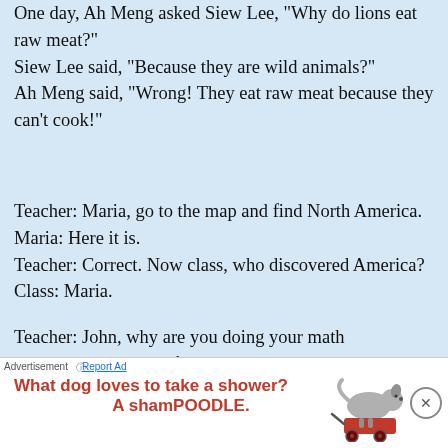One day, Ah Meng asked Siew Lee, "Why do lions eat raw meat?"
Siew Lee said, "Because they are wild animals?"
Ah Meng said, "Wrong! They eat raw meat because they can't cook!"
Teacher: Maria, go to the map and find North America.
Maria: Here it is.
Teacher: Correct. Now class, who discovered America?
Class: Maria.
Teacher: John, why are you doing your math multiplication on the floor?
John: You told me to do it without using tables.
Teacher: Glenn, how do you spell Crocodile?
Glenn: K-R-O-K-O-D-I-A-L.
Teacher: No, that's wrong.
G
I
[Figure (infographic): Advertisement banner with dog illustration on a red wagon. Text: 'What dog loves to take a shower? A shamPOODLE.' with a close (X) button and 'Advertisement | Report Ad' label.]